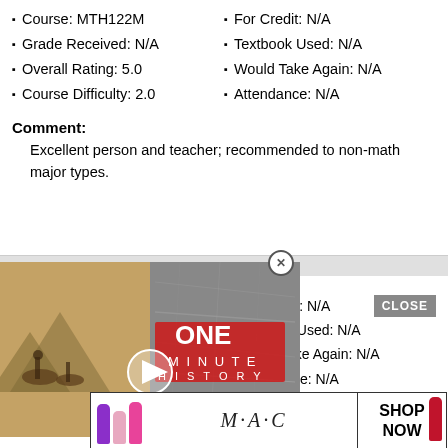Course: MTH122M
For Credit: N/A
Grade Received: N/A
Textbook Used: N/A
Overall Rating: 5.0
Would Take Again: N/A
Course Difficulty: 2.0
Attendance: N/A
Comment:
Excellent person and teacher; recommended to non-math major types.
[Figure (screenshot): Video advertisement overlay showing historical battle scene with 'One Minute History' branding and play button, with close (X) button]
Overall Rating: 5.0
Would Take Again: N/A
Course Difficulty: 4.0
Attendance: N/A
Comment:
Great
[Figure (screenshot): MAC cosmetics advertisement with lipsticks image and SHOP NOW button, with CLOSE button]
For Credit: N/A
Textbook Used: N/A